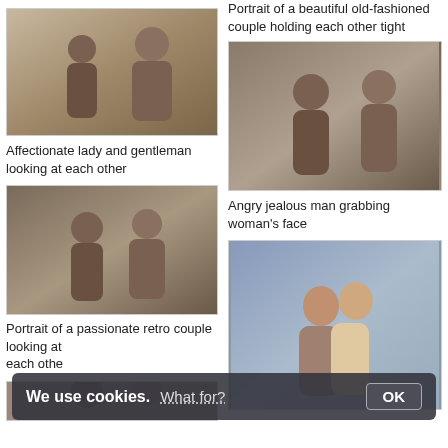Portrait of a beautiful old-fashioned couple holding each other tight
[Figure (photo): Sepia-toned studio photo of a 1920s-style couple, man and woman, looking at each other – top left]
Affectionate lady and gentleman looking at each other
[Figure (photo): Sepia-toned studio photo, man grabbing woman's face from the side – top right]
Angry jealous man grabbing woman's face
[Figure (photo): Sepia-toned studio photo of retro couple looking at each other closely – bottom left]
Portrait of a passionate retro couple looking at each other
[Figure (photo): Color photo of modern couple embracing against gray background – bottom right]
[Figure (photo): Partially visible sepia photo at very bottom left]
We use cookies. What for? OK